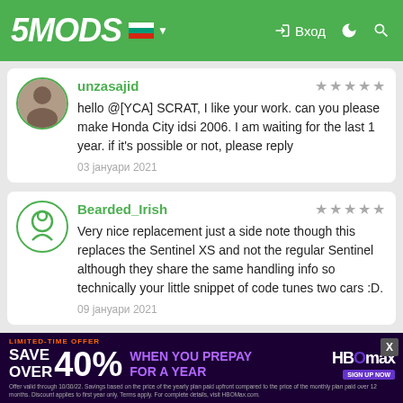5MODS — Вход
unzasajid — hello @[YCA] SCRAT, I like your work. can you please make Honda City idsi 2006. I am waiting for the last 1 year. if it's possible or not, please reply — 03 януари 2021
Bearded_Irish — Very nice replacement just a side note though this replaces the Sentinel XS and not the regular Sentinel although they share the same handling info so technically your little snippet of code tunes two cars :D. — 09 јануари 2021
po11ly — this mod is just perfect for me — 17 јануари 2021
[Figure (infographic): HBO Max advertisement banner: SAVE OVER 40% WHEN YOU PREPAY FOR A YEAR with fine print]